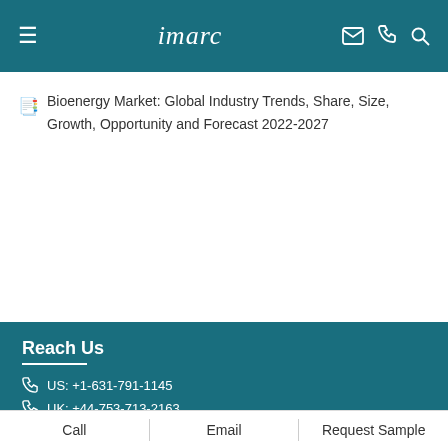imarc
Bioenergy Market: Global Industry Trends, Share, Size, Growth, Opportunity and Forecast 2022-2027
Reach Us
US: +1-631-791-1145
UK: +44-753-713-2163
India: +91-120-433-0800
Quick Links
Latest Reports
Press Releases
Call   Email   Request Sample